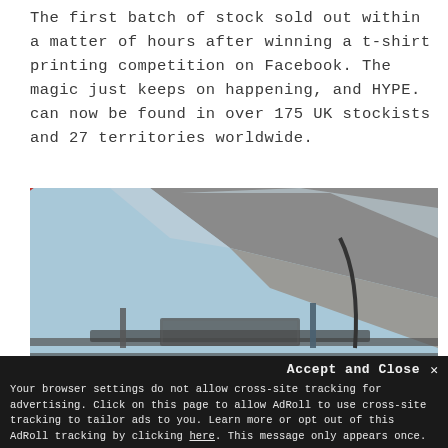The first batch of stock sold out within a matter of hours after winning a t-shirt printing competition on Facebook. The magic just keeps on happening, and HYPE. can now be found in over 175 UK stockists and 27 territories worldwide.
[Figure (photo): Photo taken from below/inside a vehicle or structure, showing a red diagonal bar or tube, grey padded or corrugated surfaces, and metal framework with cables, lit by daylight from above.]
Accept and Close ×
Your browser settings do not allow cross-site tracking for advertising. Click on this page to allow AdRoll to use cross-site tracking to tailor ads to you. Learn more or opt out of this AdRoll tracking by clicking here. This message only appears once.